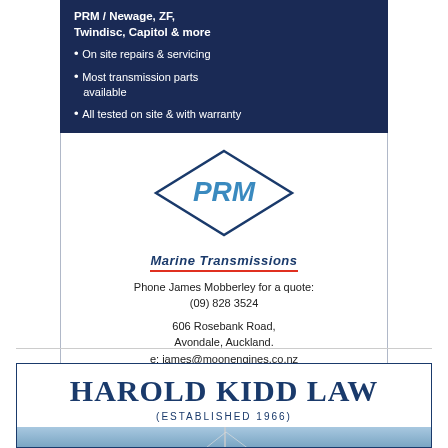PRM / Newage, ZF, Twindisc, Capitol & more
On site repairs & servicing
Most transmission parts available
All tested on site & with warranty
[Figure (logo): PRM diamond logo with 'Marine Transmissions' text and red underline]
Phone James Mobberley for a quote:
(09) 828 3524
606 Rosebank Road,
Avondale, Auckland.
e: james@moonengines.co.nz
moonengines.co.nz
HAROLD KIDD LAW
(ESTABLISHED 1966)